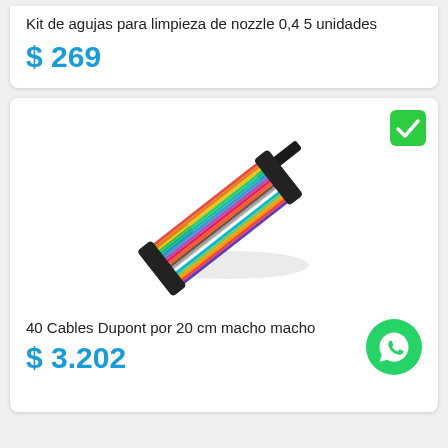Kit de agujas para limpieza de nozzle 0,4 5 unidades
$ 269
[Figure (photo): Photo of 40 Dupont ribbon cables, male-to-male, 20cm, spread out diagonally showing multicolored wires with black connectors on each end]
40 Cables Dupont por 20 cm macho macho
$ 3.202